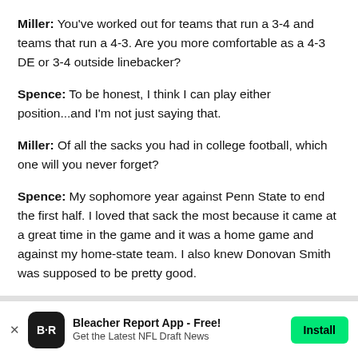Miller: You've worked out for teams that run a 3-4 and teams that run a 4-3. Are you more comfortable as a 4-3 DE or 3-4 outside linebacker?
Spence: To be honest, I think I can play either position...and I'm not just saying that.
Miller: Of all the sacks you had in college football, which one will you never forget?
Spence: My sophomore year against Penn State to end the first half. I loved that sack the most because it came at a great time in the game and it was a home game and against my home-state team. I also knew Donovan Smith was supposed to be pretty good.
[Figure (other): Bleacher Report app advertisement banner with logo, text 'Bleacher Report App - Free! Get the Latest NFL Draft News', and green Install button]